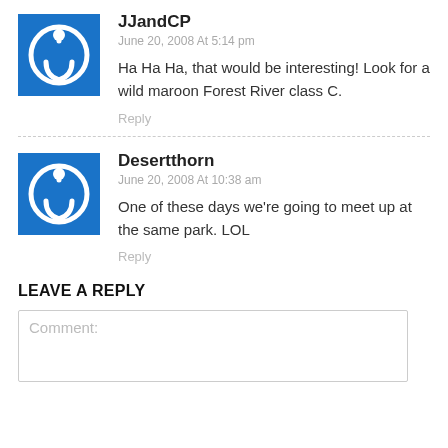JJandCP
June 20, 2008 At 5:14 pm
Ha Ha Ha, that would be interesting! Look for a wild maroon Forest River class C.
Reply
Desertthorn
June 20, 2008 At 10:38 am
One of these days we're going to meet up at the same park. LOL
Reply
LEAVE A REPLY
Comment: